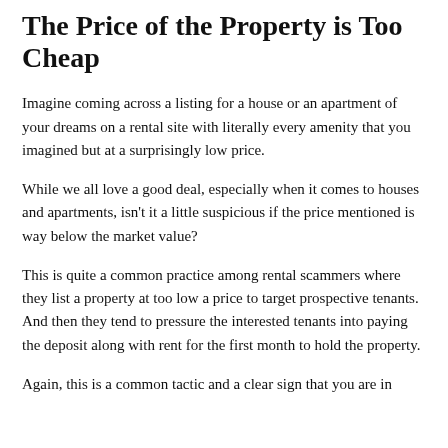The Price of the Property is Too Cheap
Imagine coming across a listing for a house or an apartment of your dreams on a rental site with literally every amenity that you imagined but at a surprisingly low price.
While we all love a good deal, especially when it comes to houses and apartments, isn't it a little suspicious if the price mentioned is way below the market value?
This is quite a common practice among rental scammers where they list a property at too low a price to target prospective tenants. And then they tend to pressure the interested tenants into paying the deposit along with rent for the first month to hold the property.
Again, this is a common tactic and a clear sign that you are in